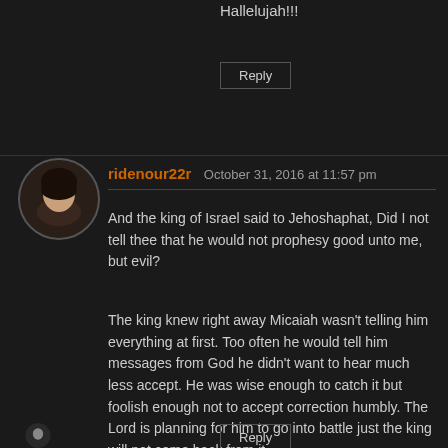Hallelujah!!!
Reply
ridenour22r  October 31, 2016 at 11:57 pm
And the king of Israel said to Jehoshaphat, Did I not tell thee that he would not prophesy good unto me, but evil?
The king knew right away Micaiah wasn't telling him everything at first. Too often he would tell him messages from God he didn't want to hear much less accept. He was wise enough to catch it but foolish enough not to accept correction humbly. The Lord is planning for him to go into battle just the king will not come back from it.
Reply